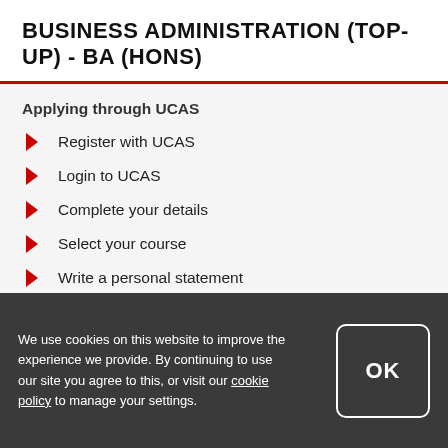BUSINESS ADMINISTRATION (TOP-UP) - BA (HONS)
Applying through UCAS
Register with UCAS
Login to UCAS
Complete your details
Select your course
Write a personal statement
Get a reference
We use cookies on this website to improve the experience we provide. By continuing to use our site you agree to this, or visit our cookie policy to manage your settings.